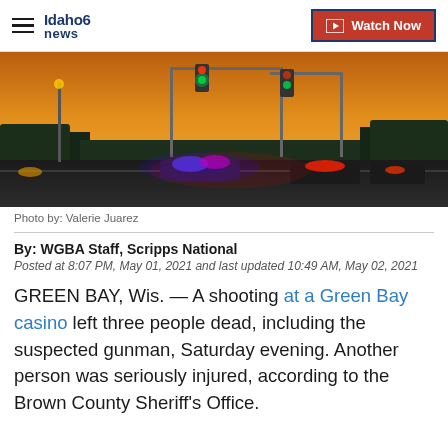Idaho news6 | Watch Now
[Figure (photo): Police cars with flashing blue and red lights at a road intersection at dusk/sunset with orange sky and traffic signals visible]
Photo by: Valerie Juarez
By: WGBA Staff, Scripps National
Posted at 8:07 PM, May 01, 2021 and last updated 10:49 AM, May 02, 2021
GREEN BAY, Wis. — A shooting at a Green Bay casino left three people dead, including the suspected gunman, Saturday evening. Another person was seriously injured, according to the Brown County Sheriff's Office.